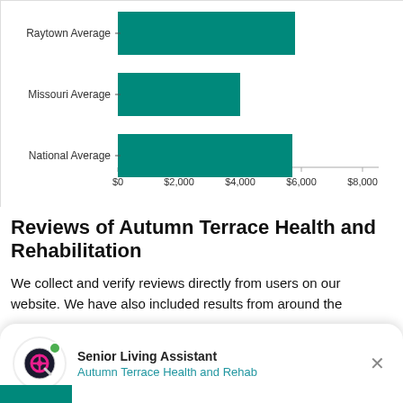[Figure (bar-chart): Cost comparison chart]
Reviews of Autumn Terrace Health and Rehabilitation
We collect and verify reviews directly from users on our website. We have also included results from around the w...